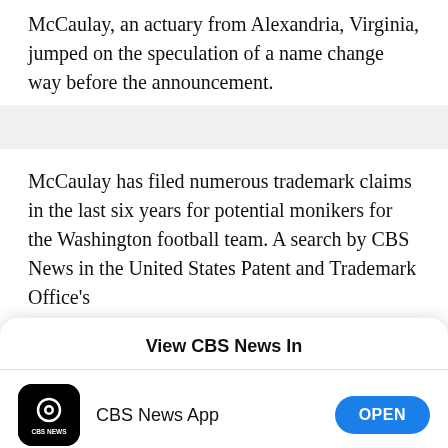McCaulay, an actuary from Alexandria, Virginia, jumped on the speculation of a name change way before the announcement.
McCaulay has filed numerous trademark claims in the last six years for potential monikers for the Washington football team. A search by CBS News in the United States Patent and Trademark Office's
View CBS News In
[Figure (logo): CBS News app icon — black rounded square with CBS eye logo and CBS NEWS text below]
CBS News App
OPEN
[Figure (logo): Safari browser icon — blue compass with red and white needle]
Safari
CONTINUE